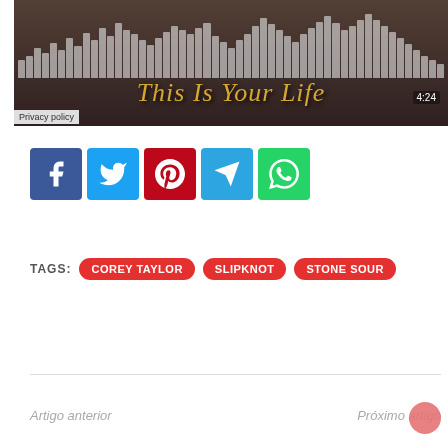[Figure (screenshot): Music player embed showing 'This Is Your Life' with waveform visualization, time display 4:24, and a privacy policy label over a dark rock-themed background image.]
[Figure (infographic): Row of five social share buttons: Facebook (blue), Twitter (light blue), Pinterest (red), Telegram (blue), WhatsApp (green).]
TAGS: COREY TAYLOR  SLIPKNOT  STONE SOUR
Artigo anterior
Próximo artigo